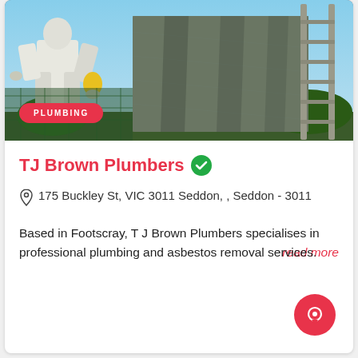[Figure (photo): Worker in white protective suit standing near a building covered with tarpaulin sheeting, with a ladder visible on the right side. A red 'PLUMBING' badge overlays the bottom-left of the image.]
TJ Brown Plumbers
175 Buckley St, VIC 3011 Seddon, , Seddon - 3011
Based in Footscray, T J Brown Plumbers specialises in professional plumbing and asbestos removal services.
read more